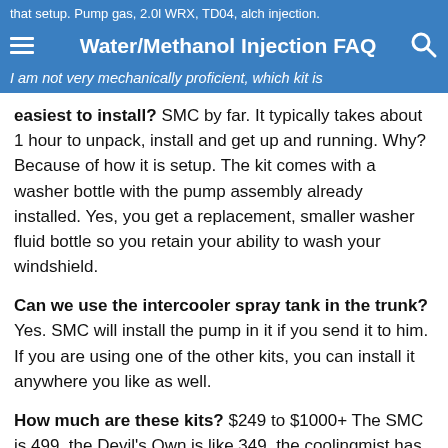that setup. Pump gas, 2.0l WRX, TD04, alch injection. Water/Methanol Injection FAQ I am not very mechanically proficient, which kit is
easiest to install? SMC by far. It typically takes about 1 hour to unpack, install and get up and running. Why? Because of how it is setup. The kit comes with a washer bottle with the pump assembly already installed. Yes, you get a replacement, smaller washer fluid bottle so you retain your ability to wash your windshield.
Can we use the intercooler spray tank in the trunk? Yes. SMC will install the pump in it if you send it to him. If you are using one of the other kits, you can install it anywhere you like as well.
How much are these kits? $249 to $1000+ The SMC is 499, the Devil's Own is like 349, the coolingmist has an option for 249 I believe, and the top of the line Aquamist is over a grand IIRC.